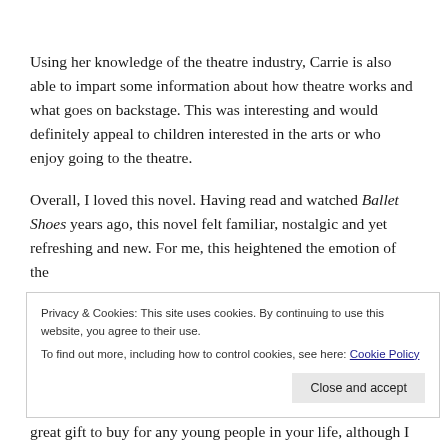Using her knowledge of the theatre industry, Carrie is also able to impart some information about how theatre works and what goes on backstage. This was interesting and would definitely appeal to children interested in the arts or who enjoy going to the theatre.
Overall, I loved this novel. Having read and watched Ballet Shoes years ago, this novel felt familiar, nostalgic and yet refreshing and new. For me, this heightened the emotion of the
Privacy & Cookies: This site uses cookies. By continuing to use this website, you agree to their use.
To find out more, including how to control cookies, see here: Cookie Policy
great gift to buy for any young people in your life, although I